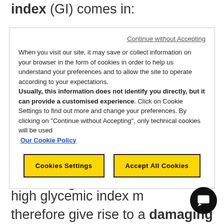index (GI) comes in:
[Figure (screenshot): Cookie consent modal dialog with 'Continue without Accepting' link, cookie policy text, and two yellow buttons: 'Cookies Settings' and 'Accept All Cookies']
subsequently fall too low, thereby transmitting a message requesting more sugars and stimulating the desire to eat.
A carbohydrate-rich diet with a high glycemic index may therefore give rise to a damaging physiological mechanism which often leads to dietary disorders related to